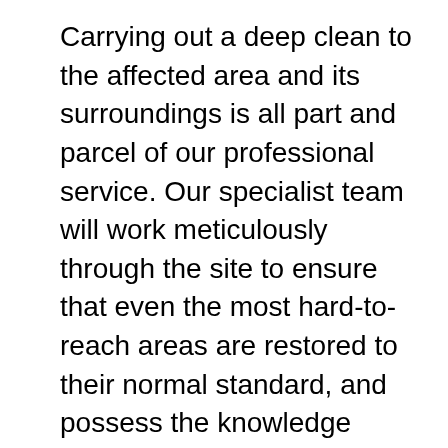Carrying out a deep clean to the affected area and its surroundings is all part and parcel of our professional service. Our specialist team will work meticulously through the site to ensure that even the most hard-to-reach areas are restored to their normal standard, and possess the knowledge needed to assess whether certain items may or may not be salvageable after being exposed to the fluids, faeces or similarly hazardous